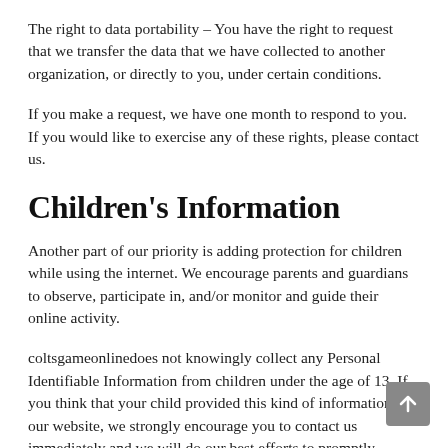The right to data portability – You have the right to request that we transfer the data that we have collected to another organization, or directly to you, under certain conditions.
If you make a request, we have one month to respond to you. If you would like to exercise any of these rights, please contact us.
Children's Information
Another part of our priority is adding protection for children while using the internet. We encourage parents and guardians to observe, participate in, and/or monitor and guide their online activity.
coltsgameonlinedoes not knowingly collect any Personal Identifiable Information from children under the age of 13. If you think that your child provided this kind of information on our website, we strongly encourage you to contact us immediately and we will do our best efforts to promptly remove such information from our records.